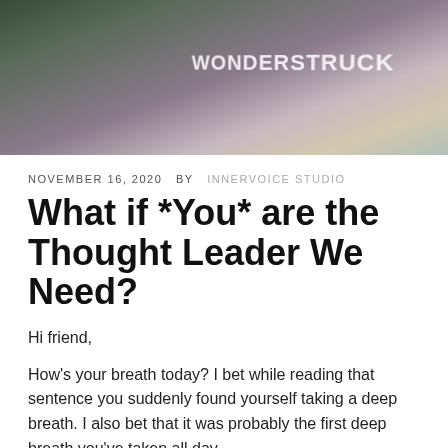[Figure (photo): Photo of a person wearing a gray 'WONDERSTRUCK' t-shirt, with arms raised, against a colorful background]
NOVEMBER 16, 2020  BY  INNERVOICE STUDIO
What if *You* are the Thought Leader We Need?
Hi friend,
How's your breath today? I bet while reading that sentence you suddenly found yourself taking a deep breath. I also bet that it was probably the first deep breath you've taken all day.
How are you in general? We've all been forced to adapt to an unimaginable amount of change throughout these past few months, all while living in constant fear of an ongoing